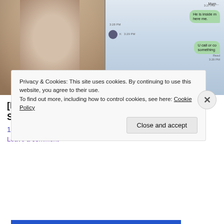[Figure (screenshot): Two-panel image: left side shows a young girl with long blonde hair; right side shows a mobile text message conversation with chat bubbles.]
[Photos] Mom Lets 14 Year Old Babysit, Then She Gets a Text Saying: "I'm a Baby"
12Up
Leave a comment
Privacy & Cookies: This site uses cookies. By continuing to use this website, you agree to their use.
To find out more, including how to control cookies, see here: Cookie Policy
Close and accept